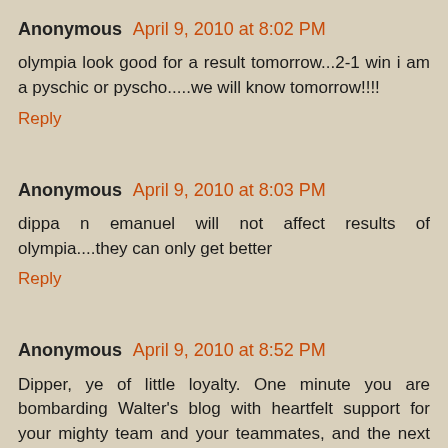Anonymous April 9, 2010 at 8:02 PM
olympia look good for a result tomorrow...2-1 win i am a pyschic or pyscho.....we will know tomorrow!!!!
Reply
Anonymous April 9, 2010 at 8:03 PM
dippa n emanuel will not affect results of olympia....they can only get better
Reply
Anonymous April 9, 2010 at 8:52 PM
Dipper, ye of little loyalty. One minute you are bombarding Walter's blog with heartfelt support for your mighty team and your teammates, and the next you have moved on for a misely slice of bread and some cheese. I think Olympia will be lucky to have 5 players left by the end of the season. But hey what does that matter as long as they are